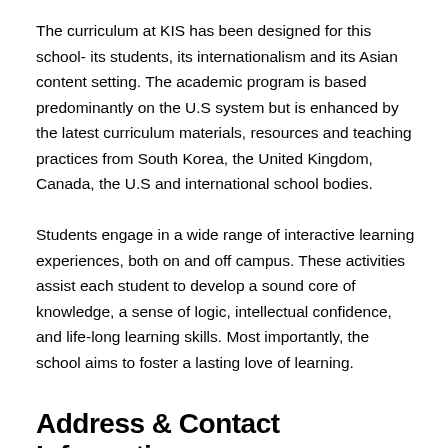The curriculum at KIS has been designed for this school- its students, its internationalism and its Asian content setting. The academic program is based predominantly on the U.S system but is enhanced by the latest curriculum materials, resources and teaching practices from South Korea, the United Kingdom, Canada, the U.S and international school bodies.
Students engage in a wide range of interactive learning experiences, both on and off campus. These activities assist each student to develop a sound core of knowledge, a sense of logic, intellectual confidence, and life-long learning skills. Most importantly, the school aims to foster a lasting love of learning.
Address & Contact Information